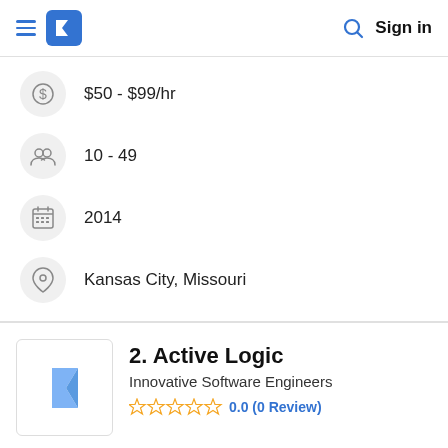Sign in
$50 - $99/hr
10 - 49
2014
Kansas City, Missouri
2. Active Logic
Innovative Software Engineers
0.0 (0 Review)
Visit Website ↗